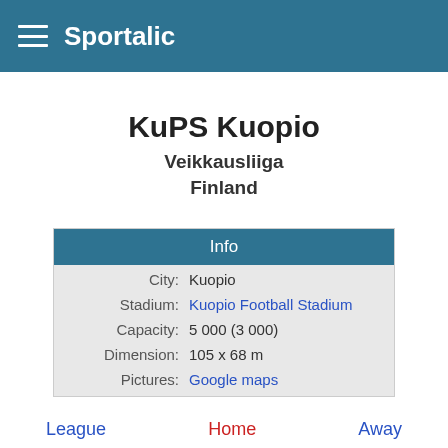Sportalic
KuPS Kuopio
Veikkausliiga
Finland
| Info |  |
| --- | --- |
| City: | Kuopio |
| Stadium: | Kuopio Football Stadium |
| Capacity: | 5 000 (3 000) |
| Dimension: | 105 x 68 m |
| Pictures: | Google maps |
League   Home   Away
Last 50   Home   Away